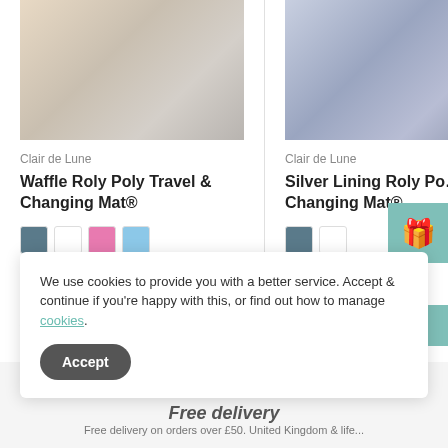[Figure (photo): Waffle textured travel changing mat in pink and grey, rolled/folded on wooden surface]
Clair de Lune
Waffle Roly Poly Travel & Changing Mat®
[Figure (illustration): Color swatches: dark grey, white, pink, light blue]
From £22.99
Choose options
[Figure (photo): Silver Lining changing mat in lavender/grey tones, partially visible on right side]
Clair de Lune
Silver Lining Roly Poly Changing Mat®
[Figure (illustration): Color swatches: dark grey, white]
From £24.99
Choose options
We use cookies to provide you with a better service. Accept & continue if you're happy with this, or find out how to manage cookies.
Accept